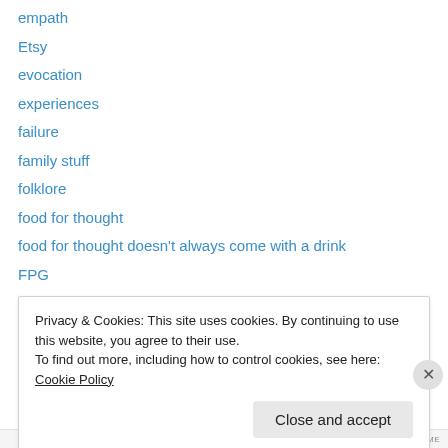empath
Etsy
evocation
experiences
failure
family stuff
folklore
food for thought
food for thought doesn't always come with a drink
FPG
Freyja
god project
Goddess?
Privacy & Cookies: This site uses cookies. By continuing to use this website, you agree to their use. To find out more, including how to control cookies, see here: Cookie Policy
Close and accept